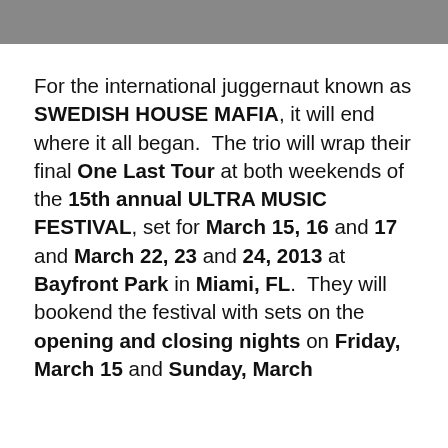For the international juggernaut known as SWEDISH HOUSE MAFIA, it will end where it all began.  The trio will wrap their final One Last Tour at both weekends of the 15th annual ULTRA MUSIC FESTIVAL, set for March 15, 16 and 17 and March 22, 23 and 24, 2013 at Bayfront Park in Miami, FL.  They will bookend the festival with sets on the opening and closing nights on Friday, March 15 and Sunday, March